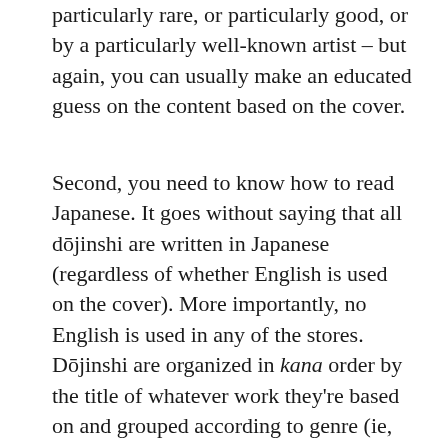particularly rare, or particularly good, or by a particularly well-known artist – but again, you can usually make an educated guess on the content based on the cover.
Second, you need to know how to read Japanese. It goes without saying that all dōjinshi are written in Japanese (regardless of whether English is used on the cover). More importantly, no English is used in any of the stores. Dōjinshi are organized in kana order by the title of whatever work they're based on and grouped according to genre (ie, video games, shōnen manga, Western television shows, Korean boy bands, etc). Dōjinshi based on more popular series (such as Hetalia or Final Fantasy VII) are further organized by pairing or dōiin